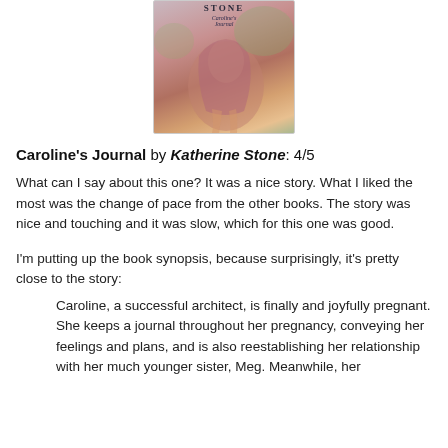[Figure (illustration): Book cover for Caroline's Journal by Katherine Stone, showing a woman in a pink/mauve dress with warm tones]
Caroline's Journal by Katherine Stone: 4/5
What can I say about this one? It was a nice story. What I liked the most was the change of pace from the other books. The story was nice and touching and it was slow, which for this one was good.
I'm putting up the book synopsis, because surprisingly, it's pretty close to the story:
Caroline, a successful architect, is finally and joyfully pregnant. She keeps a journal throughout her pregnancy, conveying her feelings and plans, and is also reestablishing her relationship with her much younger sister, Meg. Meanwhile, her